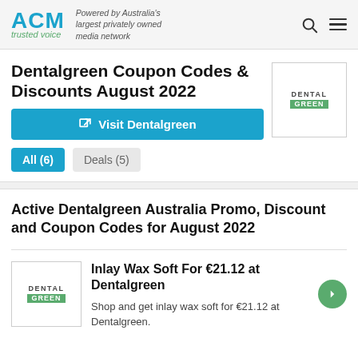ACM trusted voice — Powered by Australia's largest privately owned media network
Dentalgreen Coupon Codes & Discounts August 2022
Visit Dentalgreen
All (6)
Deals (5)
Active Dentalgreen Australia Promo, Discount and Coupon Codes for August 2022
Inlay Wax Soft For €21.12 at Dentalgreen
Shop and get inlay wax soft for €21.12 at Dentalgreen.